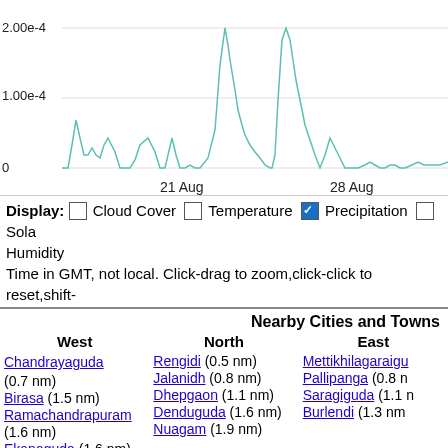[Figure (continuous-plot): Time series line chart showing precipitation data around 21 Aug and 28 Aug, with y-axis values 0, 1.00e-4, 2.00e-4 and teal/green line with multiple peaks]
Display: □ Cloud Cover □ Temperature ☑ Precipitation □ Solar Humidity
Time in GMT, not local. Click-drag to zoom,click-click to reset,shift-
|  | Nearby Cities and Towns |  |
| --- | --- | --- |
| West | North | East |
| Chandrayaguda (0.7 nm)
Birasa (1.5 nm)
Ramachandrapuram (1.6 nm)
Ekanaguda (1.6 nm)
Bentiguda (2.1 nm) | Rengidi (0.5 nm)
Jalanidh (0.8 nm)
Dhepgaon (1.1 nm)
Denduguda (1.6 nm)
Nuagam (1.9 nm) | Mettikhilagaraigu...
Pallipanga (0.8 n...
Saragiguda (1.1 n...
Burlendi (1.3 nm |
Nearby Airports
| Code | IATA | Kind | Name | City | Distan... |
| --- | --- | --- | --- | --- | --- |